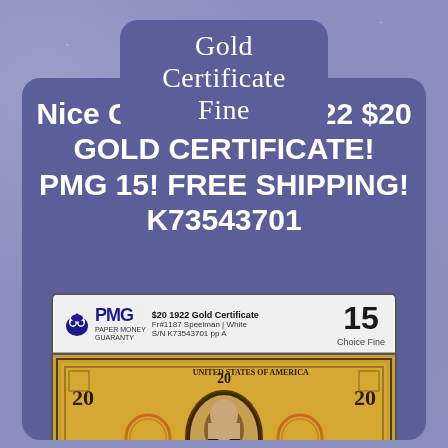Gold Certificate Fine
Nice Choice Fine 1922 $20 GOLD CERTIFICATE! PMG 15! FREE SHIPPING! K73543701
[Figure (photo): PMG graded slab containing a 1922 $20 Gold Certificate banknote, graded PMG 15 Choice Fine. The slab shows the PMG logo, grade 15, serial number K73543701 pp A, Fr#1187 Speelman/White. The banknote is gold/orange colored with a portrait in the center.]